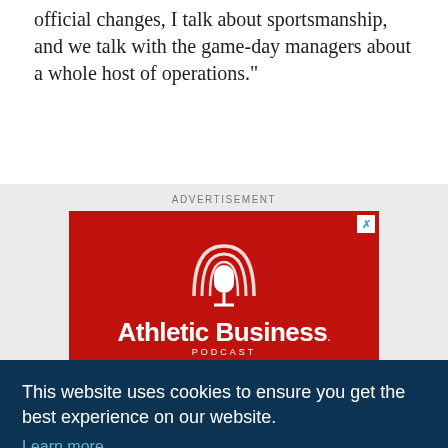official changes, I talk about sportsmanship, and we talk with the game-day managers about a whole host of operations."
[Figure (other): Advertisement banner for Athletic Business Podcast with red background, microphone logo, and brand name text.]
This website uses cookies to ensure you get the best experience on our website. Learn more
Got it!
discussions would take place, but that hasn't been